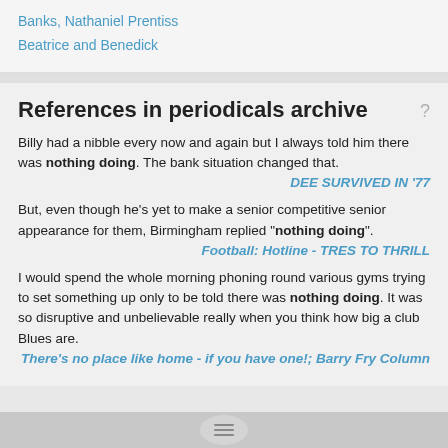Banks, Nathaniel Prentiss
Beatrice and Benedick
References in periodicals archive
Billy had a nibble every now and again but I always told him there was nothing doing. The bank situation changed that.
DEE SURVIVED IN '77
But, even though he's yet to make a senior competitive senior appearance for them, Birmingham replied "nothing doing".
Football: Hotline - TRES TO THRILL
I would spend the whole morning phoning round various gyms trying to set something up only to be told there was nothing doing. It was so disruptive and unbelievable really when you think how big a club Blues are.
There's no place like home - if you have one!; Barry Fry Column